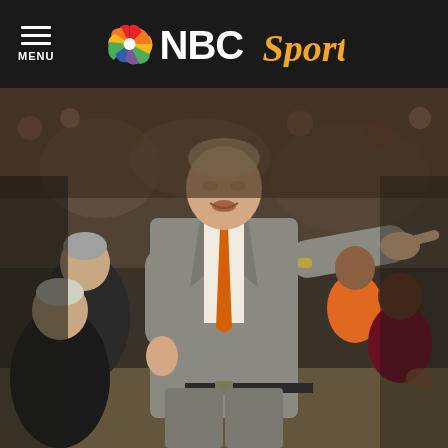NBC Sports
[Figure (photo): A basketball coach in a grey suit and orange tie pointing and directing players on the sideline during a game. Other people including players in maroon and orange uniforms are seated on the bench in the background.]